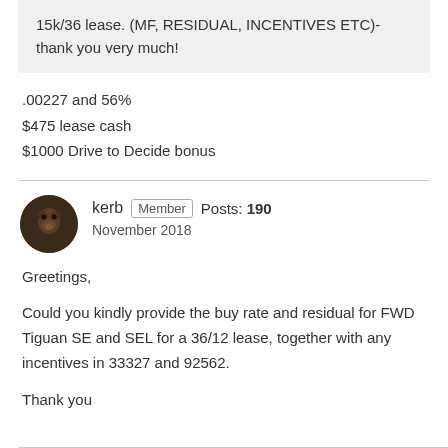15k/36 lease. (MF, RESIDUAL, INCENTIVES ETC)- thank you very much!
.00227 and 56%
$475 lease cash
$1000 Drive to Decide bonus
kerb  Member  Posts: 190
November 2018
Greetings,

Could you kindly provide the buy rate and residual for FWD Tiguan SE and SEL for a 36/12 lease, together with any incentives in 33327 and 92562.

Thank you